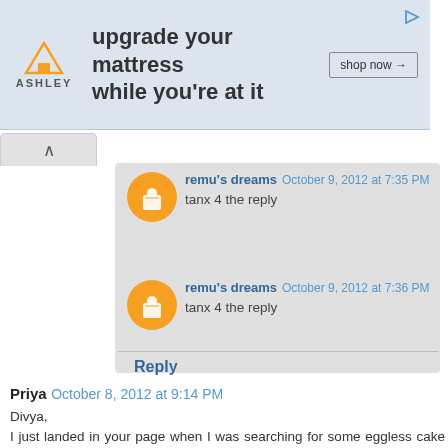[Figure (screenshot): Ashley Furniture ad banner — 'upgrade your mattress while you're at it' with shop now button]
remu's dreams October 9, 2012 at 7:35 PM
tanx 4 the reply
remu's dreams October 9, 2012 at 7:36 PM
tanx 4 the reply
Reply
Priya October 8, 2012 at 9:14 PM
Divya,
I just landed in your page when I was searching for some eggless cake recipes. Must say that it is one awesome collection for people like me, who are trying their hands at baking for the first time.